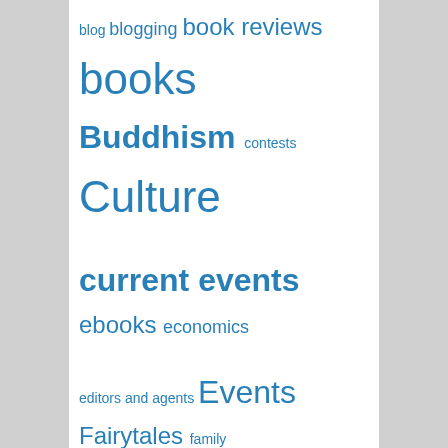[Figure (other): A tag cloud / word cloud containing blog-related category tags in varying font sizes, all in blue, on a white background. Tags include: blog, blogging, book reviews, books, Buddhism, contests, Culture, current events, ebooks, economics, editors and agents, Events, Fairytales, family, fantasy, fiction, fictional characters, folklore, Health, history, holidays, humor, Iceland, imagination, James Hillman, Joseph Campbell, Meditation, movies, Music, Myth, Nature, News, Notes from 2017, Novels, photography, plots, poetry, politics, postaweek2011, postaweek2014, Psychology, publishing, religion]